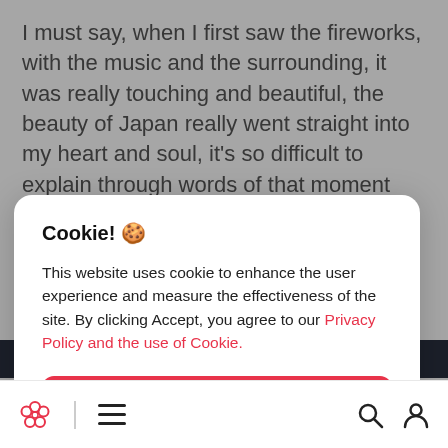I must say, when I first saw the fireworks, with the music and the surrounding, it was really touching and beautiful, the beauty of Japan really went straight into my heart and soul, it's so difficult to explain through words of that moment but those who have watched Japanese anime or movies will
Cookie! 🍪

This website uses cookie to enhance the user experience and measure the effectiveness of the site. By clicking Accept, you agree to our Privacy Policy and the use of Cookie.
Accept
[Figure (screenshot): Dark strip showing partially visible image at bottom of page]